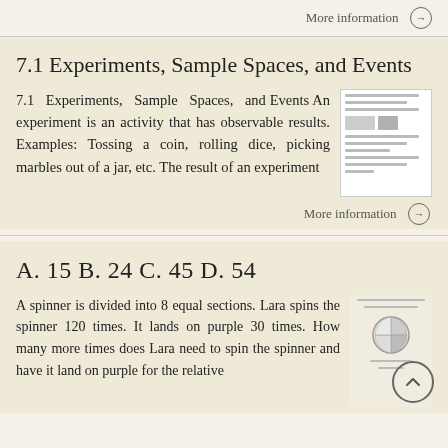More information →
7.1 Experiments, Sample Spaces, and Events
7.1 Experiments, Sample Spaces, and Events An experiment is an activity that has observable results. Examples: Tossing a coin, rolling dice, picking marbles out of a jar, etc. The result of an experiment
More information →
A. 15 B. 24 C. 45 D. 54
A spinner is divided into 8 equal sections. Lara spins the spinner 120 times. It lands on purple 30 times. How many more times does Lara need to spin the spinner and have it land on purple for the relative